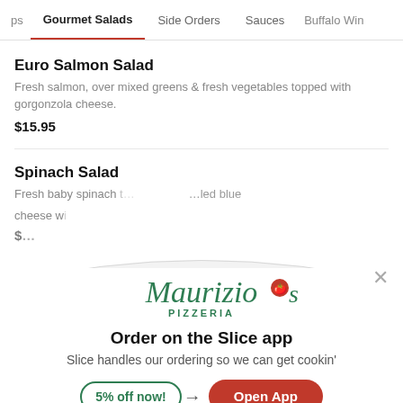ps  Gourmet Salads  Side Orders  Sauces  Buffalo Win
Euro Salmon Salad
Fresh salmon, over mixed greens & fresh vegetables topped with gorgonzola cheese.
$15.95
Spinach Salad
Fresh baby spinach t... ...led blue cheese w...
$...
[Figure (logo): Maurizio's Pizzeria logo with cursive green text and a red tomato icon]
Order on the Slice app
Slice handles our ordering so we can get cookin'
5% off now!  Open App